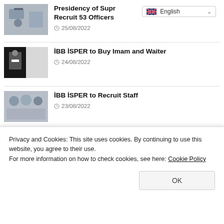[Figure (screenshot): Language selector dropdown showing English with flag icon and dropdown arrow]
[Figure (photo): Person at desk with laptop, business setting]
Presidency of Supr... Recruit 53 Officers
25/08/2022
[Figure (photo): Person in suit holding papers, waiter or official setting]
İBB İSPER to Buy Imam and Waiter
24/08/2022
[Figure (photo): Group of business people in meeting or office]
İBB İSPER to Recruit Staff
23/08/2022
Privacy and Cookies: This site uses cookies. By continuing to use this website, you agree to their use.
For more information on how to check cookies, see here: Cookie Policy
[Figure (photo): Partially visible image, dark/industrial setting]
Vocational School Graduates